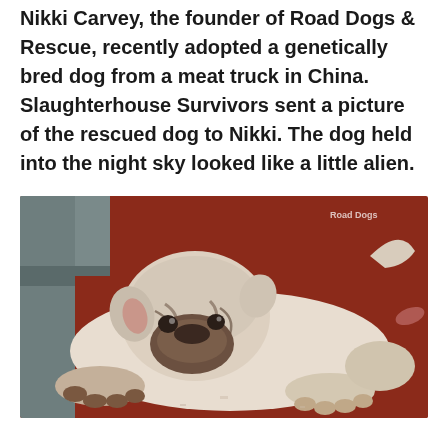Nikki Carvey, the founder of Road Dogs & Rescue, recently adopted a genetically bred dog from a meat truck in China. Slaughterhouse Survivors sent a picture of the rescued dog to Nikki. The dog held into the night sky looked like a little alien.
[Figure (photo): A white/cream-colored bulldog or pug-mix dog lying flat on a red surface, facing the camera with a wrinkled face. The dog has dark brown wrinkles around its muzzle and appears to be resting. There is a gray surface/step visible in the background on the left.]